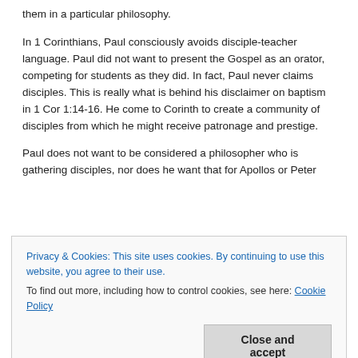them in a particular philosophy.
In 1 Corinthians, Paul consciously avoids disciple-teacher language.  Paul did not want to present the Gospel as an orator, competing for students as they did.  In fact, Paul never claims disciples.  This is really what is behind his disclaimer on baptism in 1 Cor 1:14-16.  He come to Corinth to create a community of disciples from which he might receive patronage and prestige.
Paul does not want to be considered a philosopher who is gathering disciples, nor does he want that for Apollos or Peter
Privacy & Cookies: This site uses cookies. By continuing to use this website, you agree to their use.
To find out more, including how to control cookies, see here: Cookie Policy
Close and accept
continues to act like Christianity is just another philosophy, and teachers are in competition with each other just as the Greek orators competed.  They are still acting “just like the world.”. This is the challenge of the “divisions” in 1 Corinthians